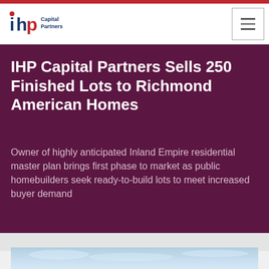IHP Capital Partners
IHP Capital Partners Sells 250 Finished Lots to Richmond American Homes
Owner of highly anticipated Inland Empire residential master plan brings first phase to market as public homebuilders seek ready-to-build lots to meet increased buyer demand
[Figure (photo): Partially visible landscape/aerial photo at the bottom of the page, showing sky and land]